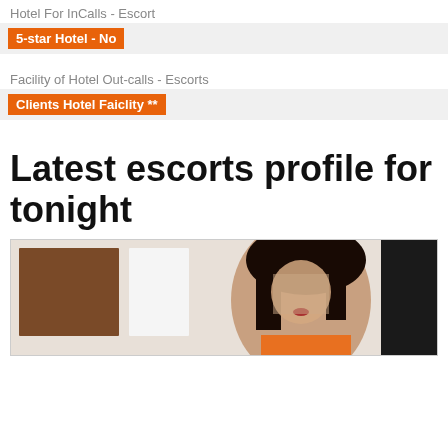Hotel For InCalls - Escort
5-star Hotel - No
Facility of Hotel Out-calls - Escorts
Clients Hotel Faiclity **
Latest escorts profile for tonight
[Figure (photo): Photo of a woman with long dark hair, blurred face, wearing an orange outfit, seated indoors with brown wooden panels visible in background and a dark screen to the right.]